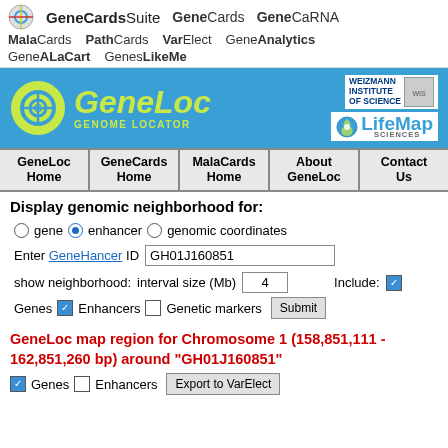GeneCardsSuite  GeneCards  GeneCaRNA  MalaCards  PathCards  VarElect  GeneAnalytics  GeneALaCart  GenesLikeMe
[Figure (logo): GeneLoc Genome Locator banner with Weizmann Institute of Science and LifeMap Sciences logos on blue background]
GeneLoc Home | GeneCards Home | MalaCards Home | About GeneLoc | Contact Us
Display genomic neighborhood for:
○ gene ● enhancer ○ genomic coordinates
Enter GeneHancer ID  GH01J160851
show neighborhood:  interval size (Mb)  4  Include: ☑
Genes ☑ Enhancers □ Genetic markers  Submit
GeneLoc map region for Chromosome 1 (158,851,111 - 162,851,260 bp) around "GH01J160851"
☑ Genes □ Enhancers  Export to VarElect